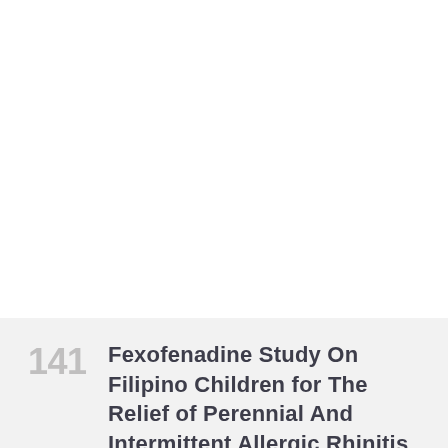Fexofenadine Study On Filipino Children for The Relief of Perennial And Intermittent Allergic Rhinitis